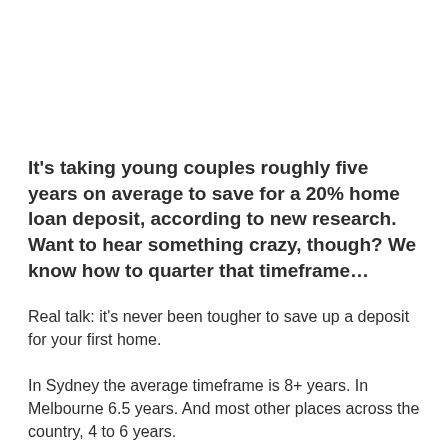It's taking young couples roughly five years on average to save for a 20% home loan deposit, according to new research. Want to hear something crazy, though? We know how to quarter that timeframe...
Real talk: it's never been tougher to save up a deposit for your first home.
In Sydney the average timeframe is 8+ years. In Melbourne 6.5 years. And most other places across the country, 4 to 6 years.